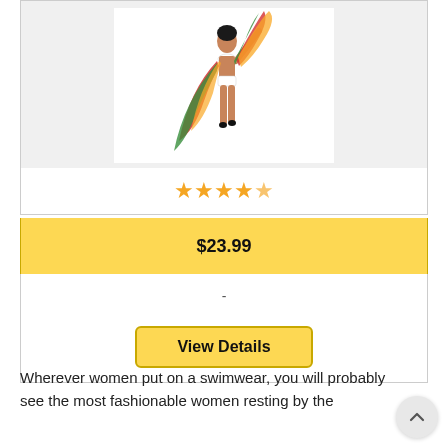[Figure (photo): Woman in white bikini holding a colorful red, yellow, and green flowing cover-up or sarong, posed on white background]
★★★★☆ (star rating, approximately 4 out of 5)
$23.99
-
View Details
Wherever women put on a swimwear, you will probably see the most fashionable women resting by the